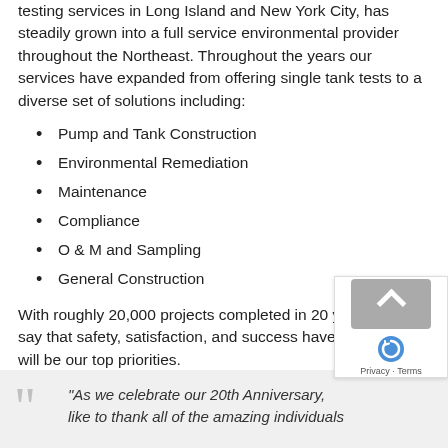testing services in Long Island and New York City, has steadily grown into a full service environmental provider throughout the Northeast. Throughout the years our services have expanded from offering single tank tests to a diverse set of solutions including:
Pump and Tank Construction
Environmental Remediation
Maintenance
Compliance
O & M and Sampling
General Construction
With roughly 20,000 projects completed in 20 years, we can say that safety, satisfaction, and success have, and always will be our top priorities.
“As we celebrate our 20th Anniversary, like to thank all of the amazing individuals